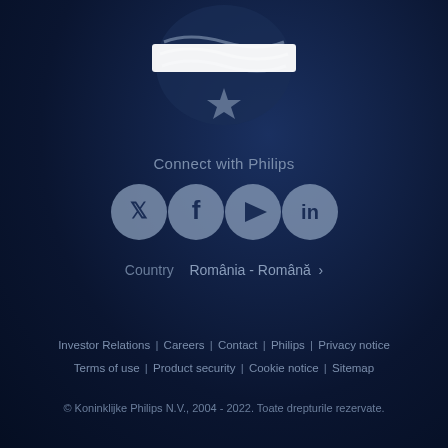[Figure (logo): Philips logo — shield/star emblem in muted gray/blue on dark navy background with a white search bar overlay]
Connect with Philips
[Figure (infographic): Four circular social media icons: Twitter, Facebook, YouTube, LinkedIn — muted gray/beige circles on dark navy background]
Country  România - Română  ›
Investor Relations | Careers | Contact | Philips | Privacy notice | Terms of use | Product security | Cookie notice | Sitemap
© Koninklijke Philips N.V., 2004 - 2022. Toate drepturile rezervate.